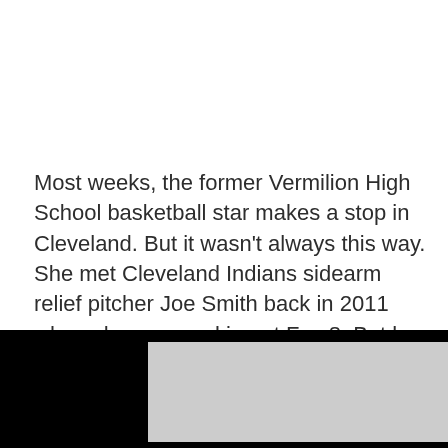Most weeks, the former Vermilion High School basketball star makes a stop in Cleveland. But it wasn't always this way. She met Cleveland Indians sidearm relief pitcher Joe Smith back in 2011 when she was working at Fox 8. But by the time they married in 2015, she was at CBS and he was pitching for the Los Angeles Angels.
Then earlier this summer, Smith rejoined the Tribe after